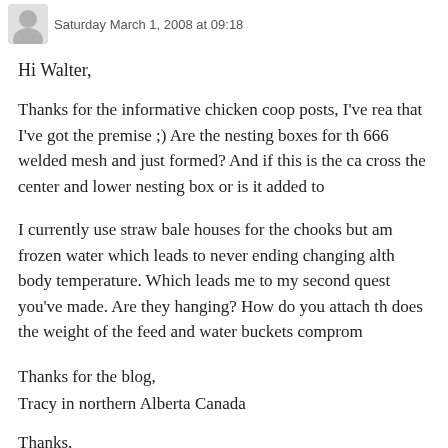Saturday March 1, 2008 at 09:18
Hi Walter,
Thanks for the informative chicken coop posts, I've rea that I've got the premise ;) Are the nesting boxes for th 666 welded mesh and just formed? And if this is the ca cross the center and lower nesting box or is it added to
I currently use straw bale houses for the chooks but am frozen water which leads to never ending changing alth body temperature. Which leads me to my second quest you've made. Are they hanging? How do you attach th does the weight of the feed and water buckets comprom
Thanks for the blog,
Tracy in northern Alberta Canada
Thanks,